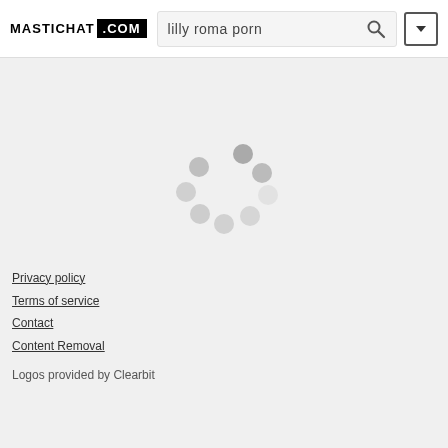MASTICHAT .COM — search bar: lilly roma porn
[Figure (other): Loading spinner animation — circular arrangement of 8 grey dots]
Privacy policy
Terms of service
Contact
Content Removal
Logos provided by Clearbit